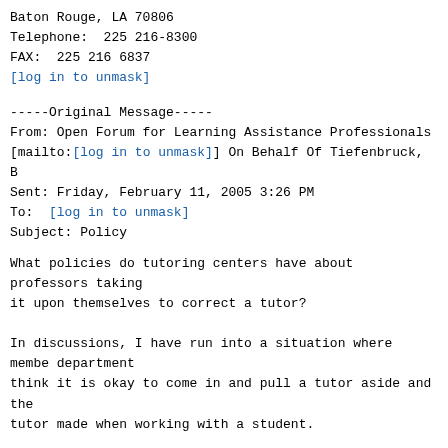Baton Rouge, LA 70806
Telephone:  225 216-8300
FAX:  225 216 6837
[log in to unmask]
-----Original Message-----
From: Open Forum for Learning Assistance Professionals
[mailto:[log in to unmask]] On Behalf Of Tiefenbruck, B
Sent: Friday, February 11, 2005 3:26 PM
To:  [log in to unmask]
Subject: Policy
What policies do tutoring centers have about professors taking
it upon themselves to correct a tutor?

In discussions, I have run into a situation where membe department
think it is okay to come in and pull a tutor aside and the
tutor made when working with a student.

Is this unusual for all or just a math problem?
Thanks for the opinions and suggestions.
-----
Brenda Tiefenbruck
Director, Mathematics Resource Center (MaRC)
University of St Thomas
O'Shaughnessy Science Hall 233